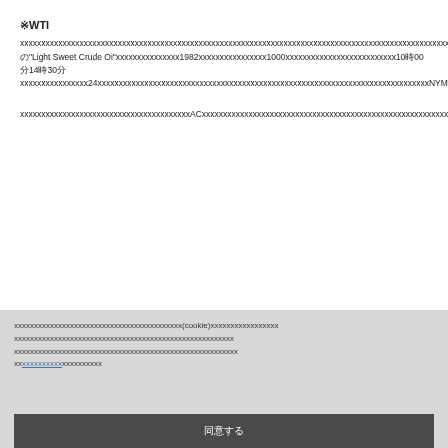※WTI
xxxxxxxxxxxxxxxxxxxxxxxxxxxxxxxxxxxxxxxxxxxxxxxxxxxxxxxxxxxxxxxxxxxxxxxxxxxxxxxxxxxxxxxxxxxxxxxxxxxxxxxxxxxxxxxxxxxxxxxxxxxxxxWTIxxxxxxxxxxxxxxxxxxxxxxxxxxxxxxNYMEXの"Light Sweet Crude Oi"xxxxxxxxxxxxxxx1982xxxxxxxxxxxxxxxx1000xxxxxxxxxxxxxxxxxxxxxxxxxx10時00分14時30分xxxxxxxxxxxxxxxx24xxxxxxxxxxxxxxxxxxxxxxxxxxxxxxxxxxxxxxxxxxxxxxxxxxxxxxxxxxxxxxxxxxxxxxxxxxxxxxNYMEXxxxxxxxxxxxxxxxxxxxxxxxxxxxxxxxxxxxxxxxxxxxxxxxxxx
xxxxxxxxxxxxxxxxxxxxxxxxxxxxxxxxxxxxxxxxACxxxxxxxxxxxxxxxxxxxxxxxxxxxxxxxxxxxxxxxxxxxxxxxxxxxxxxxxxxxxxxxxx9xxxxxxxxxxxxxxxxxxxxxxxxxxxxxxxxxxxxxxxxxxxxxxxxxxxxxxxxxxxxxxxxxxxxxxxxxxxxxxxxxxxxxxxxxxxxxxxxxxxxxxxxxxxxxxxxxxxxxxxxxxxxxxxxxxxxxxxxxxxxxxxxxx
xxxxxxxxxxxxxxxxxxxxxxxxxxxxxxxxxxxxxxxxxxxxxxxxxx(cookie)xxxxxxxxxxxxxxxxxxxxxxxxxxxxxxxxxxxxxxxxxxxxxxxxxxxxxxxxxxxxxxxxxxxxxxxxxxxxxxxxxxxxxxxxxxxxxxxxxxxxxxxxxxxxxxxxxxxxxxxxxx
同意する